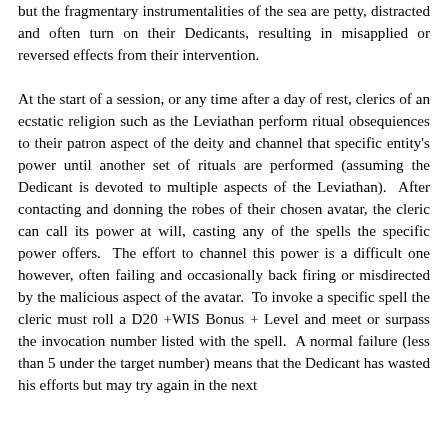but the fragmentary instrumentalities of the sea are petty, distracted and often turn on their Dedicants, resulting in misapplied or reversed effects from their intervention.
At the start of a session, or any time after a day of rest, clerics of an ecstatic religion such as the Leviathan perform ritual obsequiences to their patron aspect of the deity and channel that specific entity's power until another set of rituals are performed (assuming the Dedicant is devoted to multiple aspects of the Leviathan). After contacting and donning the robes of their chosen avatar, the cleric can call its power at will, casting any of the spells the specific power offers. The effort to channel this power is a difficult one however, often failing and occasionally back firing or misdirected by the malicious aspect of the avatar. To invoke a specific spell the cleric must roll a D20 +WIS Bonus + Level and meet or surpass the invocation number listed with the spell. A normal failure (less than 5 under the target number) means that the Dedicant has wasted his efforts but may try again in the next